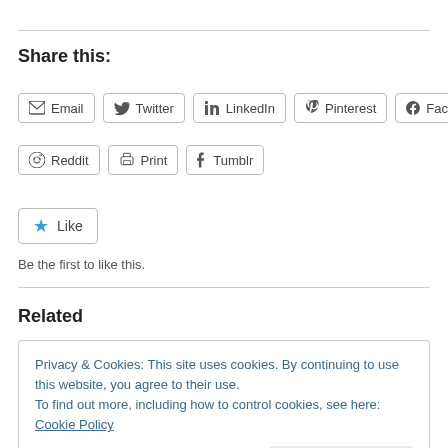Share this:
Email
Twitter
LinkedIn
Pinterest
Facebook
Reddit
Print
Tumblr
Like
Be the first to like this.
Related
Privacy & Cookies: This site uses cookies. By continuing to use this website, you agree to their use.
To find out more, including how to control cookies, see here: Cookie Policy
Close and accept